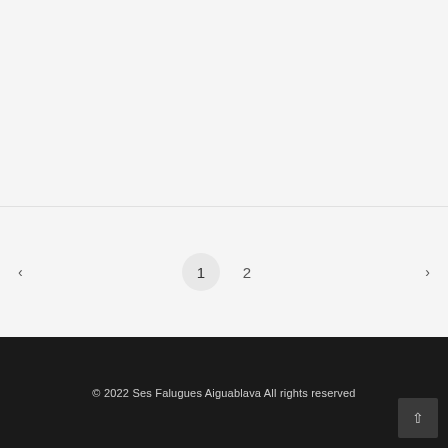[Figure (screenshot): Empty light gray content area at the top of the page]
< 1 2 >
© 2022 Ses Falugues Aiguablava All rights reserved